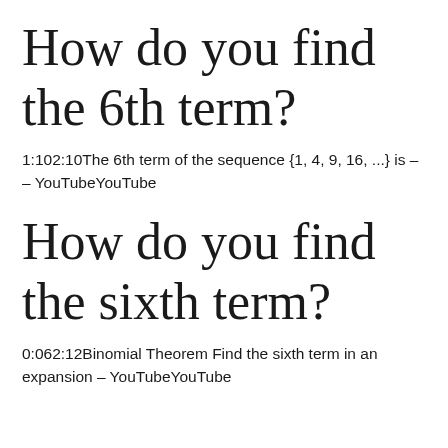How do you find the 6th term?
1:102:10The 6th term of the sequence {1, 4, 9, 16, ...} is – – YouTubeYouTube
How do you find the sixth term?
0:062:12Binomial Theorem Find the sixth term in an expansion – YouTubeYouTube